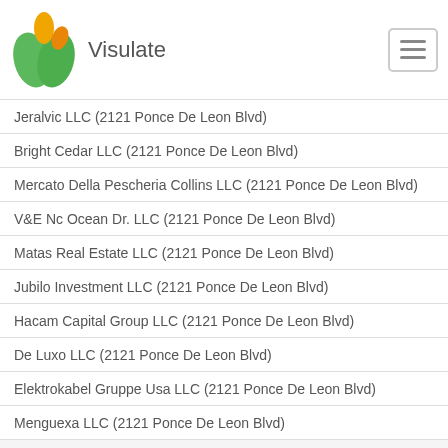Visulate
Jeralvic LLC (2121 Ponce De Leon Blvd)
Bright Cedar LLC (2121 Ponce De Leon Blvd)
Mercato Della Pescheria Collins LLC (2121 Ponce De Leon Blvd)
V&E Nc Ocean Dr. LLC (2121 Ponce De Leon Blvd)
Matas Real Estate LLC (2121 Ponce De Leon Blvd)
Jubilo Investment LLC (2121 Ponce De Leon Blvd)
Hacam Capital Group LLC (2121 Ponce De Leon Blvd)
De Luxo LLC (2121 Ponce De Leon Blvd)
Elektrokabel Gruppe Usa LLC (2121 Ponce De Leon Blvd)
Menguexa LLC (2121 Ponce De Leon Blvd)